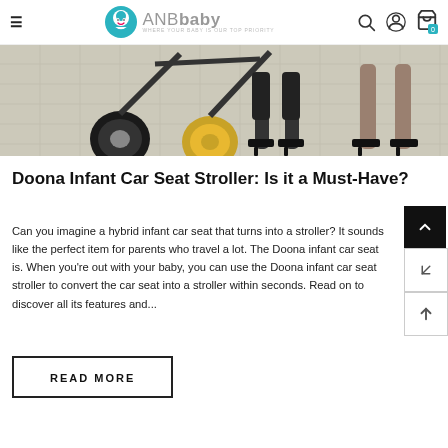ANBbaby - WHERE YOUR BABY IS OUR TOP PRIORITY
[Figure (photo): Close-up photo of a stroller's wheels and a person's legs wearing high heels on a tiled outdoor surface]
Doona Infant Car Seat Stroller: Is it a Must-Have?
Can you imagine a hybrid infant car seat that turns into a stroller? It sounds like the perfect item for parents who travel a lot. The Doona infant car seat is. When you're out with your baby, you can use the Doona infant car seat stroller to convert the car seat into a stroller within seconds. Read on to discover all its features and...
READ MORE